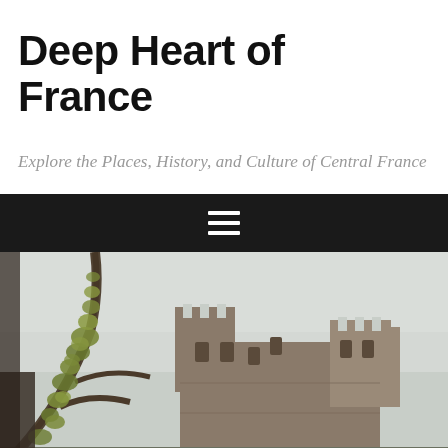Deep Heart of France
Explore the Places, History, and Culture of Central France
[Figure (other): Dark navigation bar with a hamburger menu icon (three horizontal white lines) centered on a black background]
[Figure (photo): Photograph of a medieval stone castle ruin with battlements and towers, partially obscured by moss-covered branches in the foreground, against a pale grey sky]